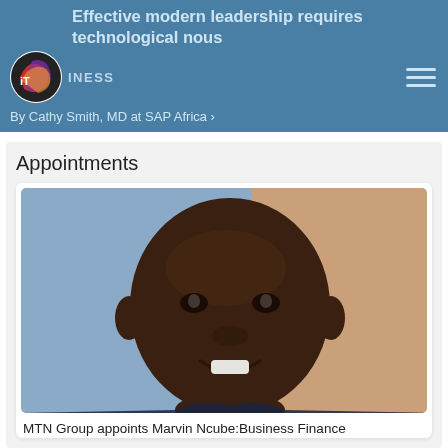Effective modern leadership requires technological nous
By Cathy Smith, MD at SAP Africa →
Appointments
[Figure (photo): Head-and-shoulders portrait photograph of Marvin Ncube, a smiling man, against a blue and beige background.]
MTN Group appoints Marvin Ncube:Business Finance